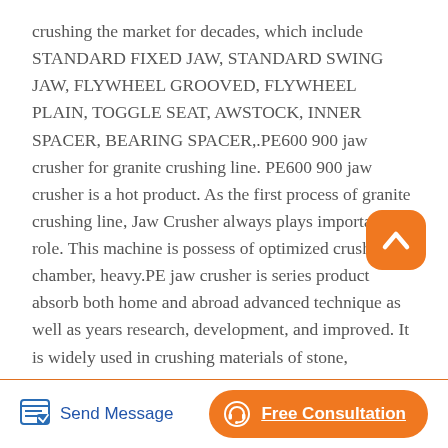crushing the market for decades, which include STANDARD FIXED JAW, STANDARD SWING JAW, FLYWHEEL GROOVED, FLYWHEEL PLAIN, TOGGLE SEAT, AWSTOCK, INNER SPACER, BEARING SPACER,.PE600 900 jaw crusher for granite crushing line. PE600 900 jaw crusher is a hot product. As the first process of granite crushing line, Jaw Crusher always plays important role. This machine is possess of optimized crushing chamber, heavy.PE jaw crusher is series product absorb both home and abroad advanced technique as well as years research, development, and improved. It is widely used in crushing materials of stone,
[Figure (illustration): Orange rounded square button with white upward chevron/caret icon, used as a scroll-to-top button]
[Figure (illustration): Blue pencil/edit icon representing Send Message action]
Send Message
Free Consultation